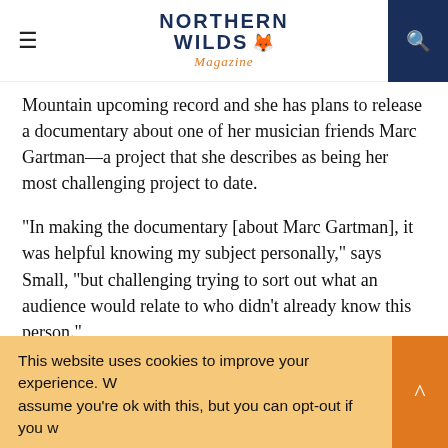Northern Wilds Magazine
Mountain upcoming record and she has plans to release a documentary about one of her musician friends Marc Gartman—a project that she describes as being her most challenging project to date.
“In making the documentary [about Marc Gartman], it was helpful knowing my subject personally,” says Small, “but challenging trying to sort out what an audience would relate to who didn’t already know this person.”
“So,” continues Small, “I kept setting aside the project over the years, but it will be ready to view
This website uses cookies to improve your experience. W assume you’re ok with this, but you can opt-out if you w